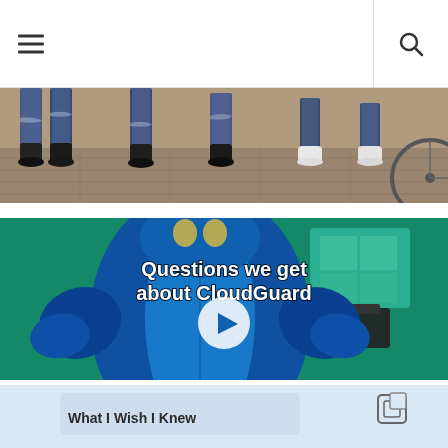Navigation header with hamburger menu and search icon
[Figure (photo): Photo showing people's legs and feet standing on a wooden floor, wearing jeans and sneakers]
[Figure (screenshot): Video thumbnail showing a person in a blue mascot/inflatable costume holding arms open, with text overlay 'Questions we get about CloudGuard' and a play button in the center]
[Figure (screenshot): Partial view of a social media card with light blue background, showing a copy/gallery icon in the top right and text 'What I Wish I Knew' partially visible]